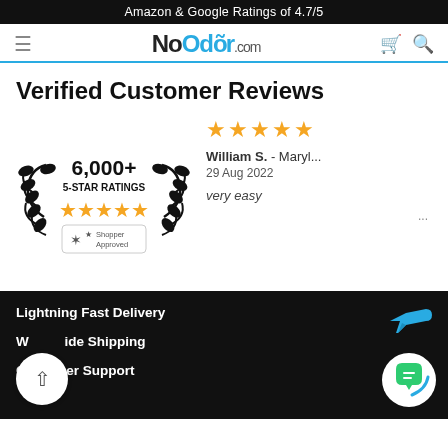Amazon & Google Ratings of 4.7/5
[Figure (logo): NoOdor.com logo with navigation hamburger menu, cart and search icons]
Verified Customer Reviews
[Figure (infographic): 6,000+ 5-Star Ratings badge with laurel wreath, stars, and Shopper Approved seal]
★★★★★ William S. - Maryl... 29 Aug 2022 very easy
Lightning Fast Delivery
Worldwide Shipping
Customer Support